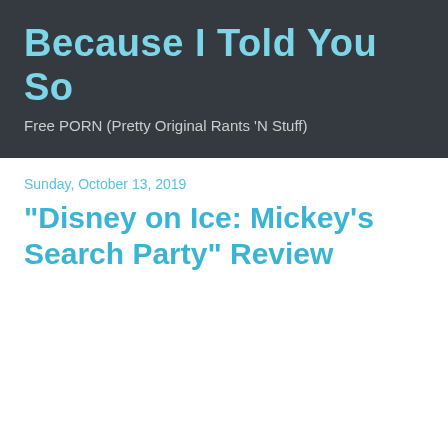Because I Told You So
Free PORN (Pretty Original Rants 'N Stuff)
Sunday, October 13, 2019
"Disney on Ice: Mickey's Search Party" Review